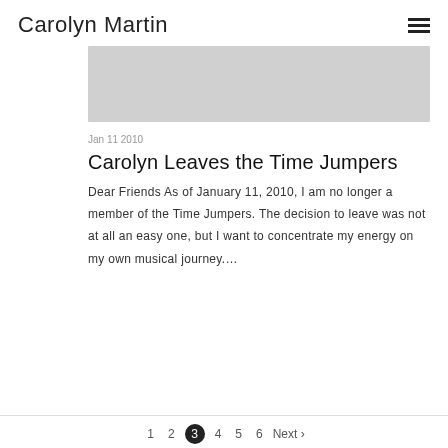Carolyn Martin
[Figure (photo): Gray image placeholder rectangle]
Jan 11 2010
Carolyn Leaves the Time Jumpers
Dear Friends As of January 11, 2010, I am no longer a member of the Time Jumpers. The decision to leave was not at all an easy one, but I want to concentrate my energy on my own musical journey....
1  2  3  4  5  6  Next ›